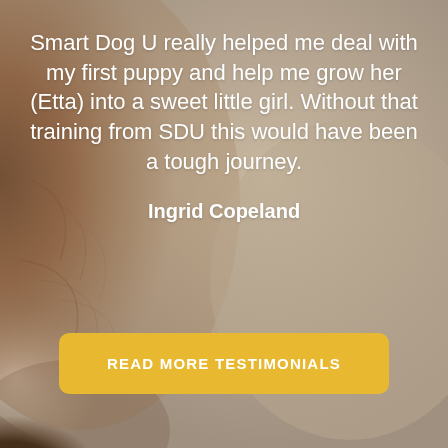[Figure (photo): Close-up blurred photo of a dog's fur and face (brown/tan and white coloring) serving as background image]
Smart Dog U really helped me deal with my first puppy and help me grow her (Etta) into a sweet little girl. Without that training from SDU this would have been a tough journey.
Ingrid Copeland
READ MORE TESTIMONIALS